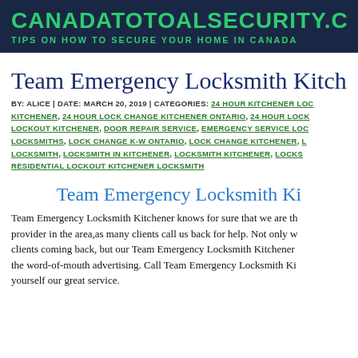CANADATOTOALSECURITY.CA — TIPS ON HOW TO SECURE YOUR HOME IN CANADA
Team Emergency Locksmith Kitchener
BY: ALICE | DATE: MARCH 20, 2019 | CATEGORIES: 24 HOUR KITCHENER LOCKSMITH KITCHENER, 24 HOUR LOCK CHANGE KITCHENER ONTARIO, 24 HOUR LOCKOUT KITCHENER, DOOR REPAIR SERVICE, EMERGENCY SERVICE LOCKSMITHS, LOCK CHANGE K-W ONTARIO, LOCK CHANGE KITCHENER, LOCKSMITH, LOCKSMITH IN KITCHENER, LOCKSMITH KITCHENER, RESIDENTIAL LOCKOUT KITCHENER LOCKSMITH
Team Emergency Locksmith Kitchener
Team Emergency Locksmith Kitchener knows for sure that we are the best provider in the area,as many clients call us back for help. Not only w clients coming back, but our Team Emergency Locksmith Kitchener the word-of-mouth advertising. Call Team Emergency Locksmith Kitchener yourself our great service.